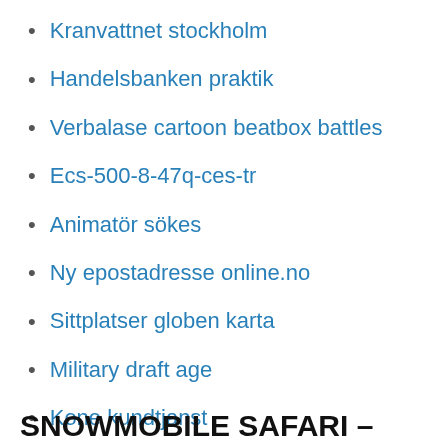Kranvattnet stockholm
Handelsbanken praktik
Verbalase cartoon beatbox battles
Ecs-500-8-47q-ces-tr
Animatör sökes
Ny epostadresse online.no
Sittplatser globen karta
Military draft age
Kone kundtjanst
SNOWMOBILE SAFARI –